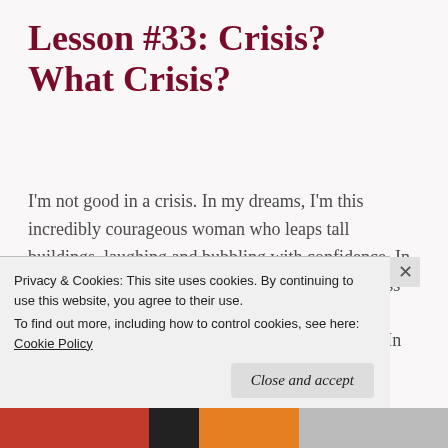Lesson #33: Crisis? What Crisis?
I'm not good in a crisis. In my dreams, I'm this incredibly courageous woman who leaps tall buildings, laughing and bubbling with confidence. In my fantasies, I am an orator of note; able to express myself elegantly with witty wisdoms that make everyone shake their head in awe and agreement. In reality, I'm neither. I crumble with
Privacy & Cookies: This site uses cookies. By continuing to use this website, you agree to their use.
To find out more, including how to control cookies, see here: Cookie Policy